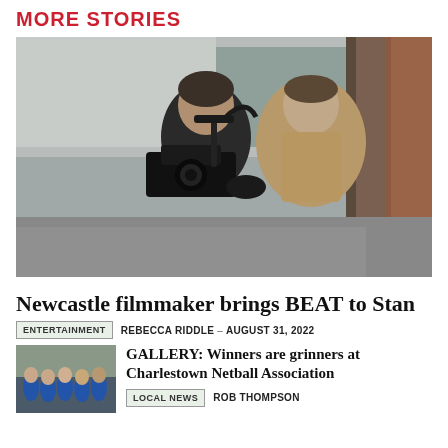MORE STORIES
[Figure (photo): Two men on a street, one holding a professional film camera with a stabilizer rig, the other watching; brick wall on the right, buildings in background]
Newcastle filmmaker brings BEAT to Stan
ENTERTAINMENT  REBECCA RIDDLE  –  AUGUST 31, 2022
[Figure (photo): Thumbnail image of a group of people in blue sports uniforms, possibly a netball team]
GALLERY: Winners are grinners at Charlestown Netball Association
LOCAL NEWS  ROB THOMPSON